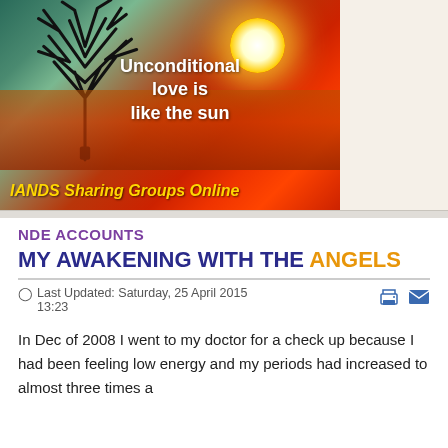[Figure (illustration): Decorative image with sunset sky background, tree silhouette, water reflection. White bold text reads 'Unconditional love is like the sun'. Yellow italic text at bottom reads 'IANDS Sharing Groups Online'.]
NDE ACCOUNTS
MY AWAKENING WITH THE ANGELS
Last Updated: Saturday, 25 April 2015 13:23
In Dec of 2008 I went to my doctor for a check up because I had been feeling low energy and my periods had increased to almost three times a